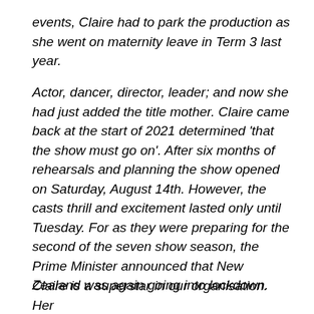events, Claire had to park the production as she went on maternity leave in Term 3 last year.
Actor, dancer, director, leader; and now she had just added the title mother. Claire came back at the start of 2021 determined 'that the show must go on'. After six months of rehearsals and planning the show opened on Saturday, August 14th. However, the casts thrill and excitement lasted only until Tuesday. For as they were preparing for the second of the seven show season, the Prime Minister announced that New Zealand was again going into lockdown.
Claire is a superstar in our organisation. Her